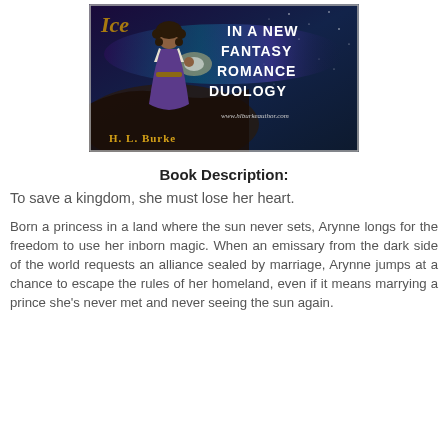[Figure (illustration): Book cover advertisement for a fantasy romance duology by H. L. Burke. Shows a woman in a purple dress in a fantasy landscape with the text 'IN A NEW FANTASY ROMANCE DUOLOGY' and website www.hlburkeauthor.com]
Book Description:
To save a kingdom, she must lose her heart.
Born a princess in a land where the sun never sets, Arynne longs for the freedom to use her inborn magic. When an emissary from the dark side of the world requests an alliance sealed by marriage, Arynne jumps at a chance to escape the rules of her homeland, even if it means marrying a prince she's never met and never seeing the sun again.